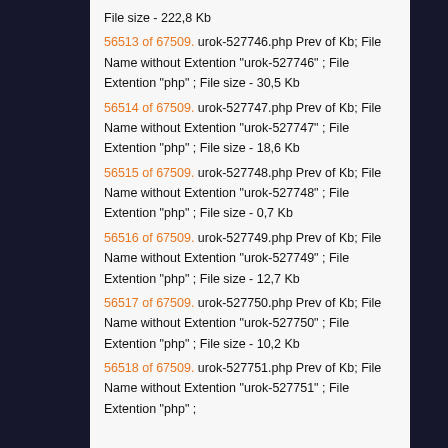File size - 222,8 Kb
56513 of 67509. urok-527746.php Prev of Kb; File Name without Extention "urok-527746" ; File Extention "php" ; File size - 30,5 Kb
56514 of 67509. urok-527747.php Prev of Kb; File Name without Extention "urok-527747" ; File Extention "php" ; File size - 18,6 Kb
56515 of 67509. urok-527748.php Prev of Kb; File Name without Extention "urok-527748" ; File Extention "php" ; File size - 0,7 Kb
56516 of 67509. urok-527749.php Prev of Kb; File Name without Extention "urok-527749" ; File Extention "php" ; File size - 12,7 Kb
56517 of 67509. urok-527750.php Prev of Kb; File Name without Extention "urok-527750" ; File Extention "php" ; File size - 10,2 Kb
56518 of 67509. urok-527751.php Prev of Kb; File Name without Extention "urok-527751" ; File Extention "php" ;